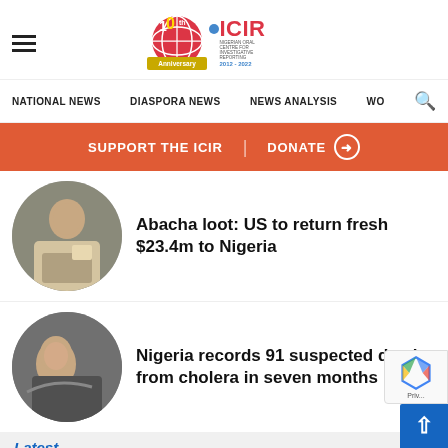ICIR 10th Anniversary 2012-2022
NATIONAL NEWS | DIASPORA NEWS | NEWS ANALYSIS | WO
SUPPORT THE ICIR | DONATE
[Figure (photo): Circular thumbnail photo of a person at a desk]
Abacha loot: US to return fresh $23.4m to Nigeria
[Figure (photo): Circular thumbnail photo of a person lying down]
Nigeria records 91 suspected deaths from cholera in seven months
Latest
2023: Amid PDP crisis, Wike holds secret meeting with Tinubu in London
2 hours ago